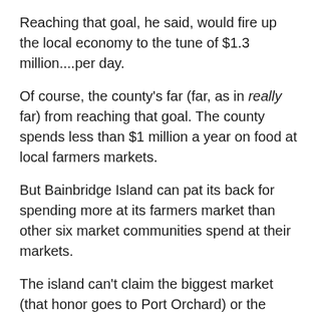Reaching that goal, he said, would fire up the local economy to the tune of $1.3 million....per day.
Of course, the county's far (far, as in really far) from reaching that goal. The county spends less than $1 million a year on food at local farmers markets.
But Bainbridge Island can pat its back for spending more at its farmers market than other six market communities spend at their markets.
The island can't claim the biggest market (that honor goes to Port Orchard) or the cheapest (also Port Orchard...the secret is that the farther south you go, the cheaper the goods get) but it draws in the lion's share of the $670,000 spent last year on edible market produce.